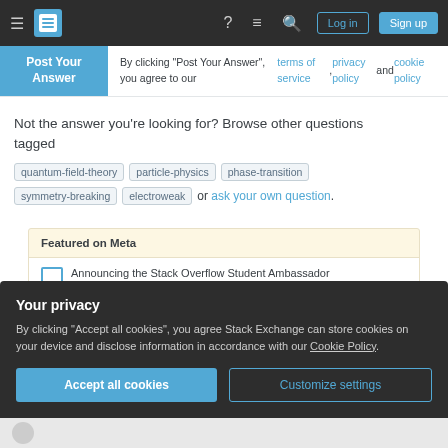Stack Exchange navigation bar with Log in and Sign up buttons
Post Your Answer — By clicking "Post Your Answer", you agree to our terms of service, privacy policy and cookie policy
Not the answer you're looking for? Browse other questions tagged quantum-field-theory particle-physics phase-transition symmetry-breaking electroweak or ask your own question.
Featured on Meta
Announcing the Stack Overflow Student Ambassador Program
Your privacy
By clicking "Accept all cookies", you agree Stack Exchange can store cookies on your device and disclose information in accordance with our Cookie Policy.
Accept all cookies
Customize settings